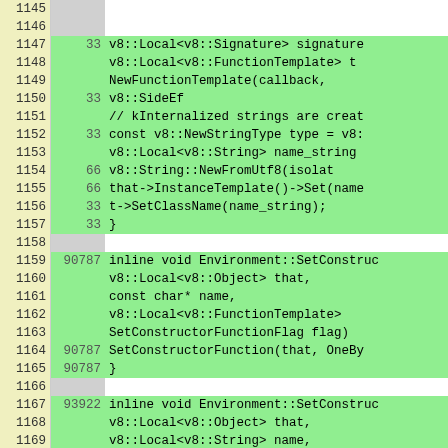[Figure (screenshot): Code coverage view showing C++ source lines 1145-1171 with line numbers, hit counts, and highlighted code. Green background indicates covered lines.]